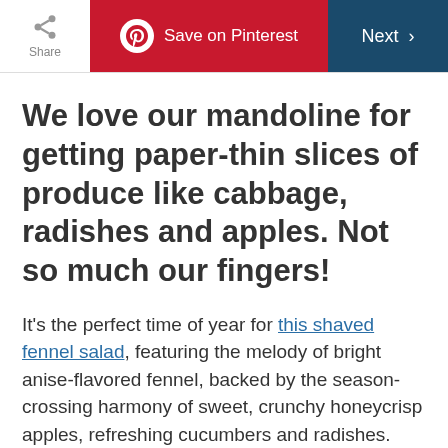Share | Save on Pinterest | Next
We love our mandoline for getting paper-thin slices of produce like cabbage, radishes and apples. Not so much our fingers!
It's the perfect time of year for this shaved fennel salad, featuring the melody of bright anise-flavored fennel, backed by the season-crossing harmony of sweet, crunchy honeycrisp apples, refreshing cucumbers and radishes. The ingredients are all sliced paper-thin.